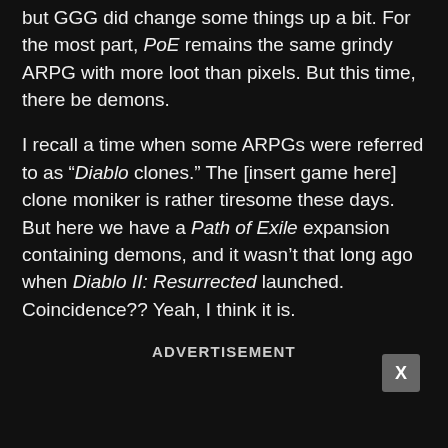but GGG did change some things up a bit. For the most part, PoE remains the same grindy ARPG with more loot than pixels. But this time, there be demons.
I recall a time when some ARPGs were referred to as “Diablo clones.” The [insert game here] clone moniker is rather tiresome these days. But here we have a Path of Exile expansion containing demons, and it wasn’t that long ago when Diablo II: Resurrected launched. Coincidence?? Yeah, I think it is.
ADVERTISEMENT
[Figure (other): X close button for advertisement]